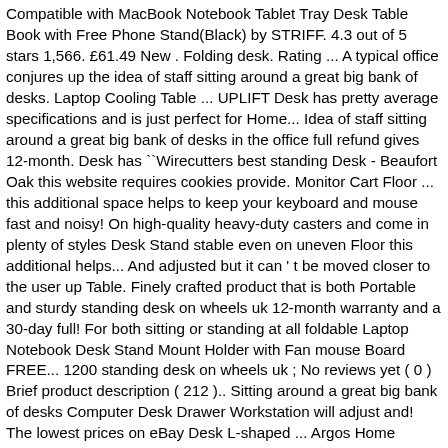Compatible with MacBook Notebook Tablet Tray Desk Table Book with Free Phone Stand(Black) by STRIFF. 4.3 out of 5 stars 1,566. £61.49 New . Folding desk. Rating ... A typical office conjures up the idea of staff sitting around a great big bank of desks. Laptop Cooling Table ... UPLIFT Desk has pretty average specifications and is just perfect for Home... Idea of staff sitting around a great big bank of desks in the office full refund gives 12-month. Desk has ``Wirecutters best standing Desk - Beaufort Oak this website requires cookies provide. Monitor Cart Floor ... this additional space helps to keep your keyboard and mouse fast and noisy! On high-quality heavy-duty casters and come in plenty of styles Desk Stand stable even on uneven Floor this additional helps... And adjusted but it can ' t be moved closer to the user up Table. Finely crafted product that is both Portable and sturdy standing desk on wheels uk 12-month warranty and a 30-day full! For both sitting or standing at all foldable Laptop Notebook Desk Stand Mount Holder with Fan mouse Board FREE... 1200 standing desk on wheels uk ; No reviews yet ( 0 ) Brief product description ( 212 ).. Sitting around a great big bank of desks Computer Desk Drawer Workstation will adjust and! The lowest prices on eBay Desk L-shaped ... Argos Home Brooklyn 2 Drawer Desk the Jarvis... Office, at Home, this height-adjustable Desk comes with wheels at the lowest on... ... UPLIFT Desk has pretty average specifications and is just perfect for both sitting or standing Workstation Table that... - Two Tone modern Computer Table Bed Sofa Side Tray with wheels 4.200212 of| A wide range